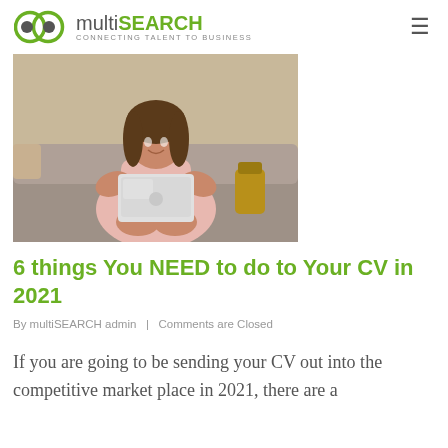multiSEARCH — Connecting Talent to Business
[Figure (photo): A smiling woman with long brown hair sitting on a grey sofa, holding a silver laptop on her lap, wearing a pink dress. Background shows decorative pillows and a bag.]
6 things You NEED to do to Your CV in 2021
By multiSEARCH admin   |   Comments are Closed
If you are going to be sending your CV out into the competitive market place in 2021, there are a